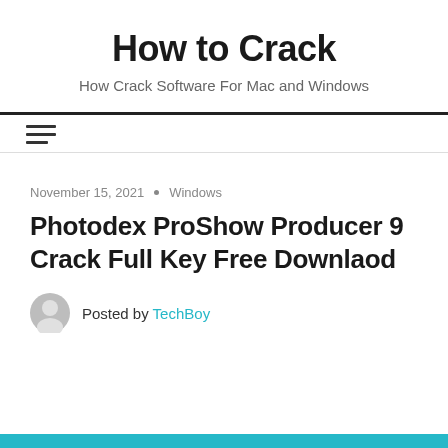How to Crack
How Crack Software For Mac and Windows
November 15, 2021 • Windows
Photodex ProShow Producer 9 Crack Full Key Free Downlaod
Posted by TechBoy